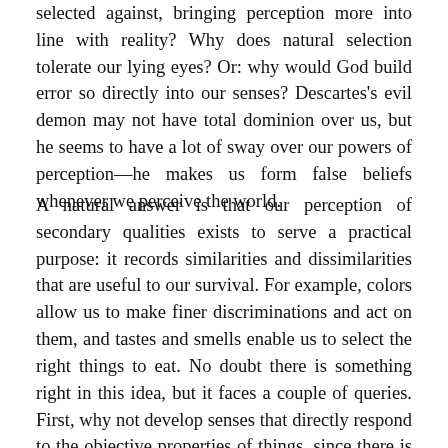selected against, bringing perception more into line with reality? Why does natural selection tolerate our lying eyes? Or: why would God build error so directly into our senses? Descartes's evil demon may not have total dominion over us, but he seems to have a lot of sway over our powers of perception—he makes us form false beliefs whenever we perceive the world.
A natural answer is that our perception of secondary qualities exists to serve a practical purpose: it records similarities and dissimilarities that are useful to our survival. For example, colors allow us to make finer discriminations and act on them, and tastes and smells enable us to select the right things to eat. No doubt there is something right in this idea, but it faces a couple of queries. First, why not develop senses that directly respond to the objective properties of things, since there is always a primary quality basis for any perceived secondary quality? Why not perceive the